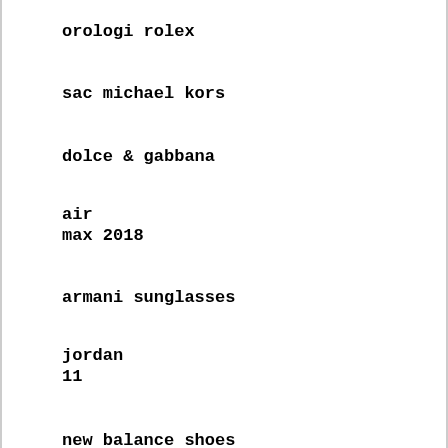orologi rolex
sac michael kors
dolce & gabbana
air
max 2018
armani sunglasses
jordan
11
new balance shoes